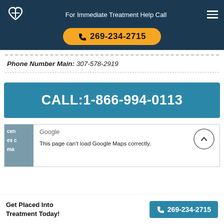For Immediate Treatment Help Call 269-234-2715
Phone Number Main: 307-578-2919
CALL:1-866-994-0113
[Figure (screenshot): Google Maps error overlay: 'This page can't load Google Maps correctly.']
Get Placed Into Treatment Today!
269-234-2715